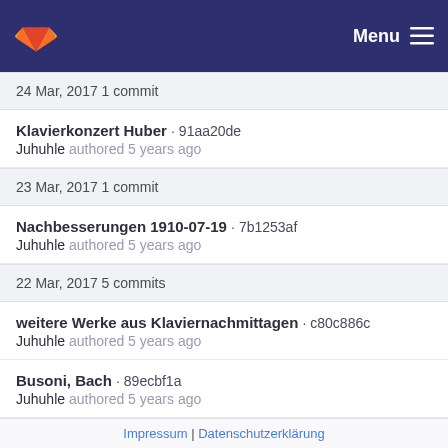GitLab — Menu
24 Mar, 2017 1 commit
Klavierkonzert Huber · 91aa20de
Juhuhle authored 5 years ago
23 Mar, 2017 1 commit
Nachbesserungen 1910-07-19 · 7b1253af
Juhuhle authored 5 years ago
22 Mar, 2017 5 commits
weitere Werke aus Klaviernachmittagen · c80c886c
Juhuhle authored 5 years ago
Busoni, Bach · 89ecbf1a
Juhuhle authored 5 years ago
Verdi, Liszt Kompositionen · 7a10caa0
Impressum | Datenschutzerklärung